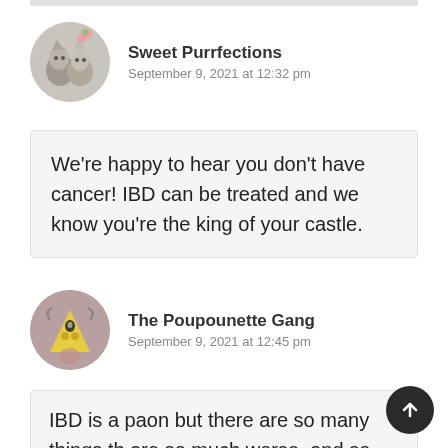[Figure (illustration): Circular avatar image of two cats with floral decoration for Sweet Purrfections]
Sweet Purrfections
September 9, 2021 at 12:32 pm
We're happy to hear you don't have cancer! IBD can be treated and we know you're the king of your castle.
[Figure (illustration): Circular avatar image of a cartoon triangle character for The Poupounette Gang]
The Poupounette Gang
September 9, 2021 at 12:45 pm
IBD is a paon but there are so many things th are so much worse, and so we are happy for